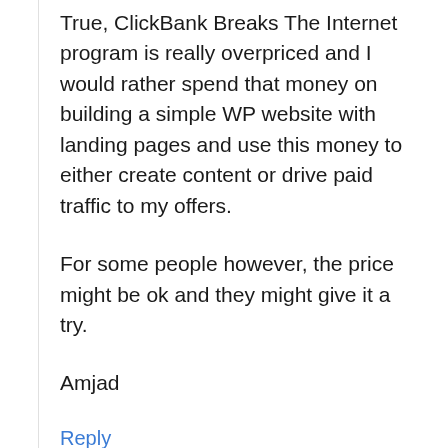True, ClickBank Breaks The Internet program is really overpriced and I would rather spend that money on building a simple WP website with landing pages and use this money to either create content or drive paid traffic to my offers.
For some people however, the price might be ok and they might give it a try.
Amjad
Reply